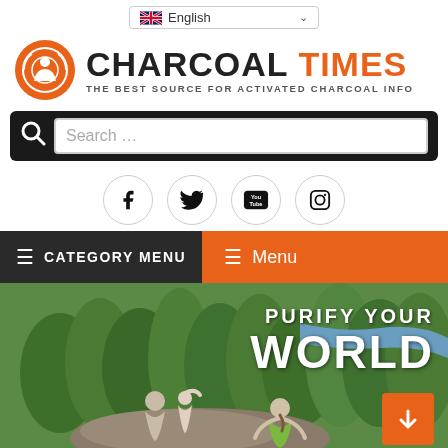English (language selector)
[Figure (logo): Charcoal Times logo with orange circular icon and text: CHARCOAL TIMES - THE BEST SOURCE FOR ACTIVATED CHARCOAL INFO]
Search ...
[Figure (infographic): Social media icons: Facebook, Twitter, YouTube, Instagram]
≡ CATEGORY MENU   ≡ Menu
[Figure (photo): Hero image of family sitting on a rock overlooking a forest and river, with text overlay: PURIFY YOUR WORLD and orange arrow button]